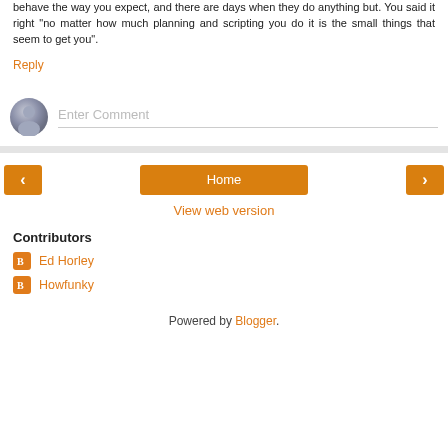behave the way you expect, and there are days when they do anything but. You said it right "no matter how much planning and scripting you do it is the small things that seem to get you".
Reply
[Figure (other): Comment input area with avatar icon and Enter Comment placeholder text field]
[Figure (other): Navigation bar with left arrow button, Home button, and right arrow button]
View web version
Contributors
Ed Horley
Howfunky
Powered by Blogger.